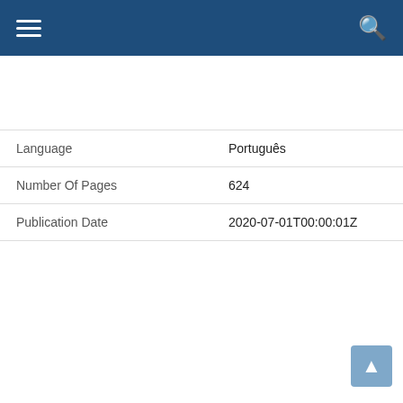Navigation bar with hamburger menu and search icon
| Field | Value |
| --- | --- |
| Language | Português |
| Number Of Pages | 624 |
| Publication Date | 2020-07-01T00:00:01Z |
[Figure (photo): Book cover for 'Faça Sua Pergunta!' by Flávio Augusto da Silva. Red background with author name in black banner, circular portrait photo, white card with bold title 'FAÇA SUA PERGUNTA!' and input field, and bottom black banner reading 'As melhores respostas para as melhor...']